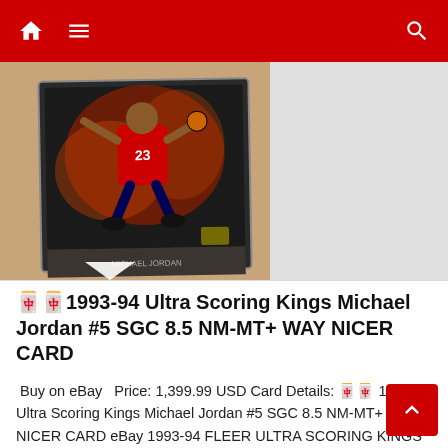Navigation bar with home, menu, and search icons
[Figure (photo): Michael Jordan 1993-94 Ultra Scoring Kings basketball card #5, showing Jordan in red Bulls #23 jersey dunking, card in protective case on tan background]
🀄🀄1993-94 Ultra Scoring Kings Michael Jordan #5 SGC 8.5 NM-MT+ WAY NICER CARD
Buy on eBay   Price: 1,399.99 USD Card Details: 🀄🀄 1993-94 Ultra Scoring Kings Michael Jordan #5 SGC 8.5 NM-MT+ WAY NICER CARD eBay 1993-94 FLEER ULTRA SCORING KINGS #5 MICHAEL